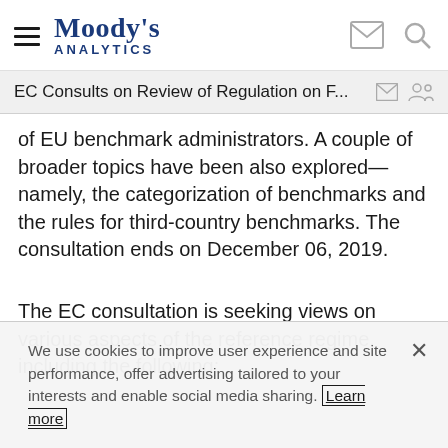Moody's Analytics
EC Consults on Review of Regulation on F...
of EU benchmark administrators. A couple of broader topics have been also explored—namely, the categorization of benchmarks and the rules for third-country benchmarks. The consultation ends on December 06, 2019.
The EC consultation is seeking views on various aspects of the reference regime, including the following:
We use cookies to improve user experience and site performance, offer advertising tailored to your interests and enable social media sharing. Learn more